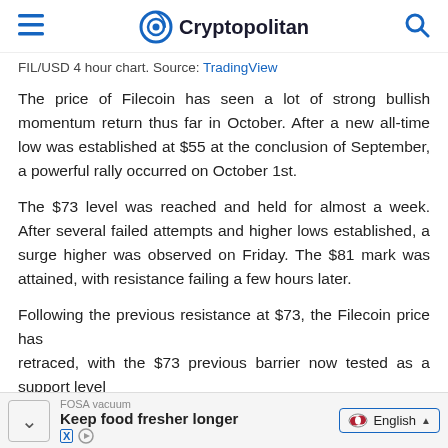Cryptopolitan
FIL/USD 4 hour chart. Source: TradingView
The price of Filecoin has seen a lot of strong bullish momentum return thus far in October. After a new all-time low was established at $55 at the conclusion of September, a powerful rally occurred on October 1st.
The $73 level was reached and held for almost a week. After several failed attempts and higher lows established, a surge higher was observed on Friday. The $81 mark was attained, with resistance failing a few hours later.
Following the previous resistance at $73, the Filecoin price has retraced with the $73 previous barrier now tested as a support...